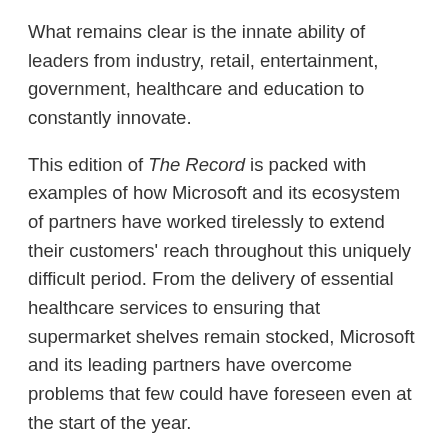What remains clear is the innate ability of leaders from industry, retail, entertainment, government, healthcare and education to constantly innovate.
This edition of The Record is packed with examples of how Microsoft and its ecosystem of partners have worked tirelessly to extend their customers' reach throughout this uniquely difficult period. From the delivery of essential healthcare services to ensuring that supermarket shelves remain stocked, Microsoft and its leading partners have overcome problems that few could have foreseen even at the start of the year.
In the first of a new series of product focus articles we take a closer look at the rapid and sustained growth of Microsoft's Dynamics 365 offering across all sectors. Along with contributions from a broad range of leading partners to showcase the potential of Dynamics as a tool for transformational innovation, we speak with Microsoft's